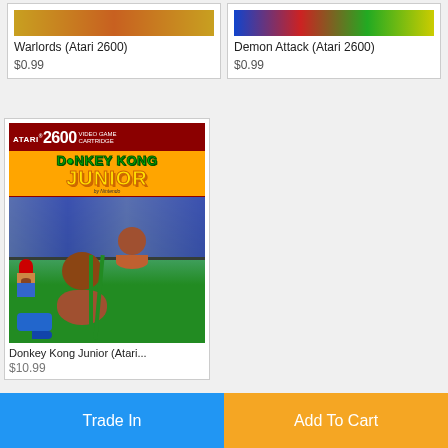[Figure (other): Warlords Atari 2600 game cartridge box art thumbnail]
Warlords (Atari 2600)
$0.99
[Figure (other): Demon Attack Atari 2600 game cartridge box art thumbnail]
Demon Attack (Atari 2600)
$0.99
[Figure (photo): Donkey Kong Junior Atari 2600 video game cartridge box art showing Mario, Donkey Kong Jr. swinging on vines, and a crocodile/bird]
Donkey Kong Junior (Atari...
$10.99
Trade In
Add To Cart